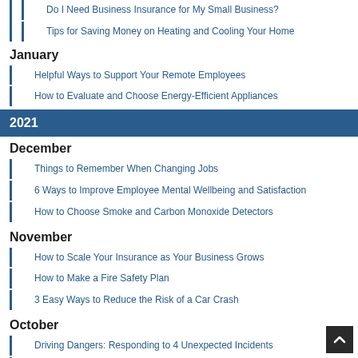Do I Need Business Insurance for My Small Business?
Tips for Saving Money on Heating and Cooling Your Home
January
Helpful Ways to Support Your Remote Employees
How to Evaluate and Choose Energy-Efficient Appliances
2021
December
Things to Remember When Changing Jobs
6 Ways to Improve Employee Mental Wellbeing and Satisfaction
How to Choose Smoke and Carbon Monoxide Detectors
November
How to Scale Your Insurance as Your Business Grows
How to Make a Fire Safety Plan
3 Easy Ways to Reduce the Risk of a Car Crash
October
Driving Dangers: Responding to 4 Unexpected Incidents
5 Safety Tips to Reduce Workplace-Related Injuries